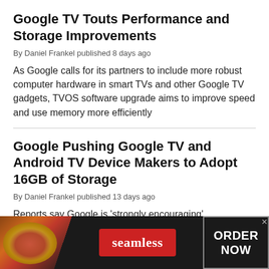Google TV Touts Performance and Storage Improvements
By Daniel Frankel published 8 days ago
As Google calls for its partners to include more robust computer hardware in smart TVs and other Google TV gadgets, TVOS software upgrade aims to improve speed and use memory more efficiently
Google Pushing Google TV and Android TV Device Makers to Adopt 16GB of Storage
By Daniel Frankel published 13 days ago
Reports say Google is 'strongly encouraging'
[Figure (screenshot): Advertisement banner for Seamless food delivery service showing pizza image on left, red Seamless button in center, and ORDER NOW button on right against dark background]